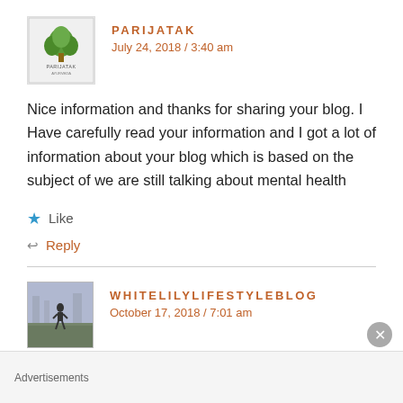[Figure (logo): Parijatak Ayurveda logo - small square icon with green tree and text]
PARIJATAK
July 24, 2018 / 3:40 am
Nice information and thanks for sharing your blog. I Have carefully read your information and I got a lot of information about your blog which is based on the subject of we are still talking about mental health
Like
Reply
[Figure (photo): Small profile photo of a person outdoors, urban background]
WHITELILYLIFESTYLEBLOG
October 17, 2018 / 7:01 am
Advertisements